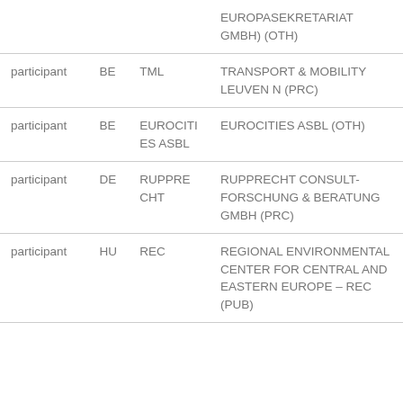| Role | Country | Short name | Full name |
| --- | --- | --- | --- |
|  |  |  | EUROPASEKRETARIAT GMBH) (OTH) |
| participant | BE | TML | TRANSPORT & MOBILITY LEUVEN NV (PRC) |
| participant | BE | EUROCITIES ASBL | EUROCITIES ASBL (OTH) |
| participant | DE | RUPPRECHT | RUPPRECHT CONSULT- FORSCHUNG & BERATUNG GMBH (PRC) |
| participant | HU | REC | REGIONAL ENVIRONMENTAL CENTER FOR CENTRAL AND EASTERN EUROPE – REC (PUB) |